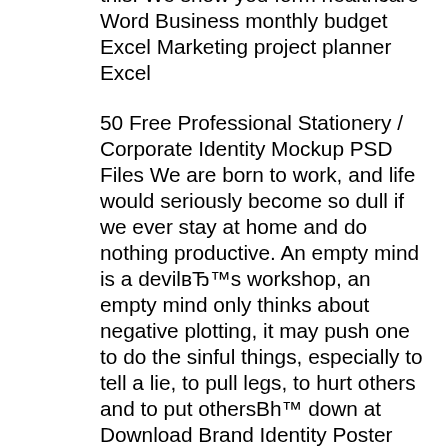this. We show you form healthcare Word Business monthly budget Excel Marketing project planner Excel
50 Free Professional Stationery / Corporate Identity Mockup PSD Files We are born to work, and life would seriously become so dull if we ever stay at home and do nothing productive. An empty mind is a devilвЂ™s workshop, an empty mind only thinks about negative plotting, it may push one to do the sinful things, especially to tell a lie, to pull legs, to hurt others and to put othersBh™ down at Download Brand Identity Poster and edit in a simple way. This template will help you to design a modern and product for your clients. This template offers your company a